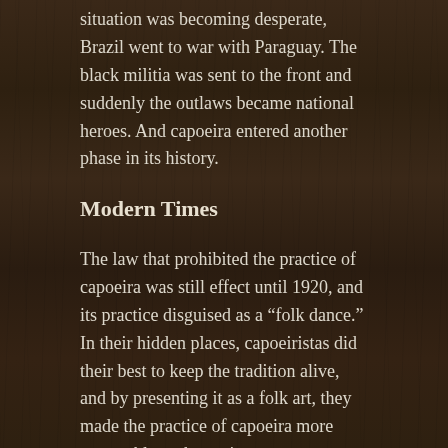situation was becoming desperate, Brazil went to war with Paraguay. The black militia was sent to the front and suddenly the outlaws became national heroes. And capoeira entered another phase in its history.
Modern Times
The law that prohibited the practice of capoeira was still effect until 1920, and its practice disguised as a “folk dance.” In their hidden places, capoeiristas did their best to keep the tradition alive, and by presenting it as a folk art, they made the practice of capoeira more acceptable to the society.
In those years it was very common for a capoeirista to have two or three nicknames. The police knew all the capoeiristas by these names and not by their real identity, so it made it much more difficult to arrest them. (This